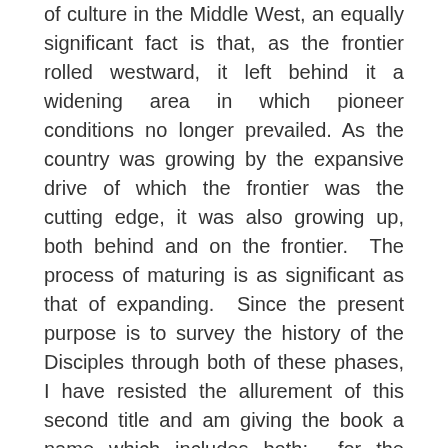of culture in the Middle West, an equally significant fact is that, as the frontier rolled westward, it left behind it a widening area in which pioneer conditions no longer prevailed. As the country was growing by the expansive drive of which the frontier was the cutting edge, it was also growing up, both behind and on the frontier. The process of maturing is as significant as that of expanding. Since the present purpose is to survey the history of the Disciples through both of these phases, I have resisted the allurement of this second title and am giving the book a name which includes both; for the movement is distinctively American, and every American movement which began in pioneer days and has lived through the cycles of American life until now has both followed the frontier and grown up with the country. As to the future—I am only a